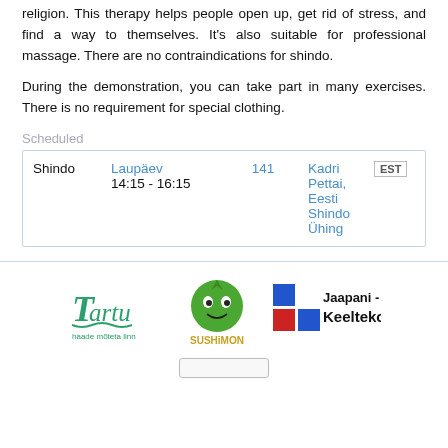religion. This therapy helps people open up, get rid of stress, and find a way to themselves. It's also suitable for professional massage. There are no contraindications for shindo.
During the demonstration, you can take part in many exercises. There is no requirement for special clothing.
Scheduled
| Shindo | Laupäev
14:15 - 16:15 | 141 | Kadri Pettai, Eesti Shindo Ühing | EST |
[Figure (logo): Tartu logo - haade mõteta linn]
[Figure (logo): Sushimon logo]
[Figure (logo): Jaapani - Inglise Keeltekool logo]